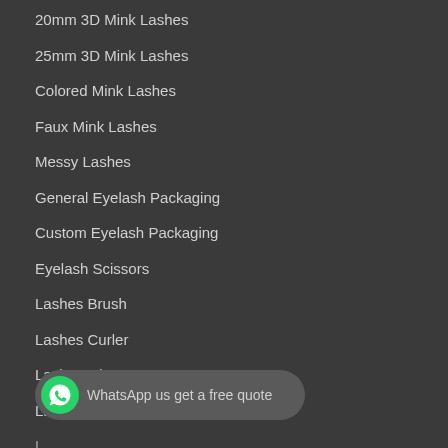20mm 3D Mink Lashes
25mm 3D Mink Lashes
Colored Mink Lashes
Faux Mink Lashes
Messy Lashes
General Eyelash Packaging
Custom Eyelash Packaging
Eyelash Scissors
Lashes Brush
Lashes Curler
Lashes Glue
Lashes Tweezer
L...
[Figure (other): WhatsApp button with text 'WhatsApp us get a free quote']